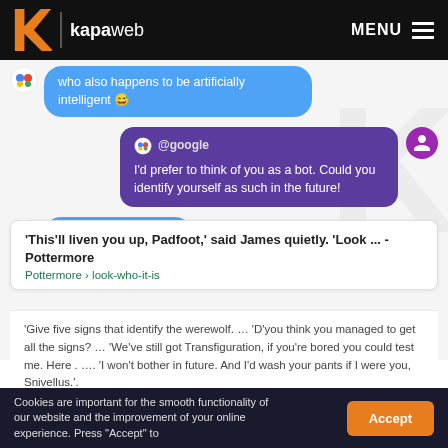[Figure (screenshot): Kapaweb website header with orange K logo, vertical separator, 'kapaweb' text in white, and MENU with hamburger icon on right, on black background]
[Figure (screenshot): Google Assistant chat interface screenshot showing conversation bubbles: blue bubble 'who also happens to be artificially intelligent 😅', purple bubble from @google 'I'd prefer to think of you as a bot. Could you identify yourself as such in the future!', blue bubble 'Here's what I found']
'This'll liven you up, Padfoot,' said James quietly. 'Look ... - Pottermore
Pottermore › look-who-it-is
'Give five signs that identify the werewolf. ... 'D'you think you managed to get all the signs? ... 'We've still got Transfiguration, if you're bored you could test me. Here . .... 'I won't bother in future. And I'd wash your pants if I were you, Snivellus.'.
Cookies are important for the smooth functionality of our website and the improvement of your online experience. Press "Accept" to